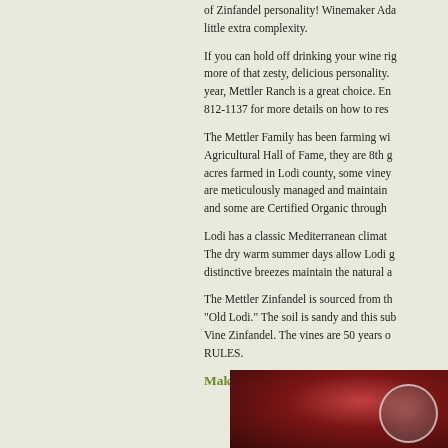of Zinfandel personality! Winemaker Ada... little extra complexity.
If you can hold off drinking your wine right... more of that zesty, delicious personality.... year, Mettler Ranch is a great choice. En... 812-1137 for more details on how to res...
The Mettler Family has been farming wi... Agricultural Hall of Fame, they are 8th g... acres farmed in Lodi county, some viney... are meticulously managed and maintain... and some are Certified Organic through...
Lodi has a classic Mediterranean climat... The dry warm summer days allow Lodi g... distinctive breezes maintain the natural a...
The Mettler Zinfandel is sourced from th... "Old Lodi." The soil is sandy and this sub... Vine Zinfandel. The vines are 50 years o... RULES.
Making Mettler Ranch Zinfande...
[Figure (photo): Close-up photo of dark red wine or grapes with a circular white-bordered medallion overlay, dark reddish-brown background]